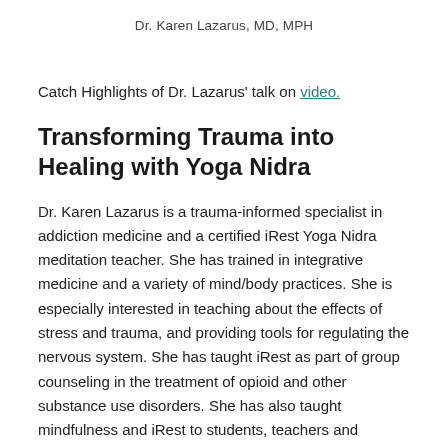Dr. Karen Lazarus, MD, MPH
Catch Highlights of Dr. Lazarus' talk on video.
Transforming Trauma into Healing with Yoga Nidra
Dr. Karen Lazarus is a trauma-informed specialist in addiction medicine and a certified iRest Yoga Nidra meditation teacher. She has trained in integrative medicine and a variety of mind/body practices. She is especially interested in teaching about the effects of stress and trauma, and providing tools for regulating the nervous system. She has taught iRest as part of group counseling in the treatment of opioid and other substance use disorders. She has also taught mindfulness and iRest to students, teachers and parents in elementary education.